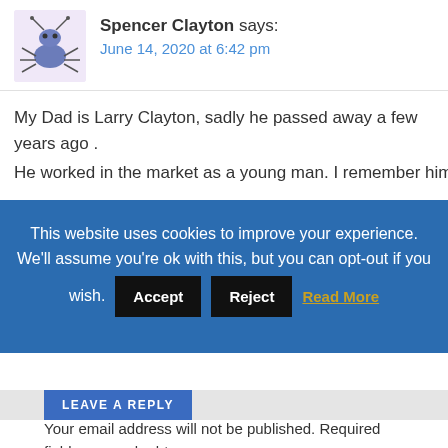[Figure (illustration): Cartoon ant/bug avatar icon with blue/purple coloring]
Spencer Clayton says:
June 14, 2020 at 6:42 pm
My Dad is Larry Clayton, sadly he passed away a few years ago .
He worked in the market as a young man. I remember him
This website uses cookies to improve your experience. We’ll assume you’re ok with this, but you can opt-out if you wish.
LEAVE A REPLY
Your email address will not be published. Required fields are marked *
Comment